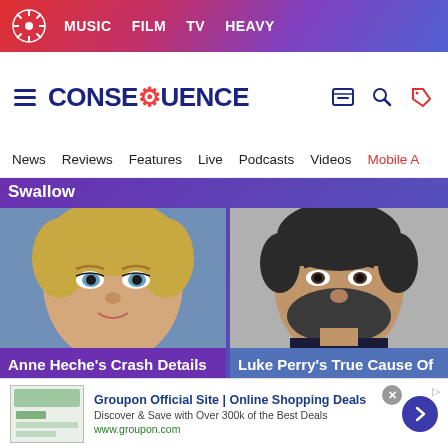MUSIC  FILM  TV  HEAVY
[Figure (logo): Consequence of Sound logo with site name CONSEQUENCE and navigation icons]
News  Reviews  Features  Live  Podcasts  Videos  Mobile A
Swallow
[Figure (photo): Close-up photo of Anne Heche, a blonde woman looking at camera]
Anne Heche's Crash Details Just Went To Another Level
[Figure (photo): Close-up photo of Luke Perry, a man with short dark hair and beard]
Luke Perry's True Cause Of Death Is Clearly No Secret Anymore
[Figure (screenshot): Groupon advertisement banner]
Groupon Official Site | Online Shopping Deals
Discover & Save with Over 300k of the Best Deals
www.groupon.com